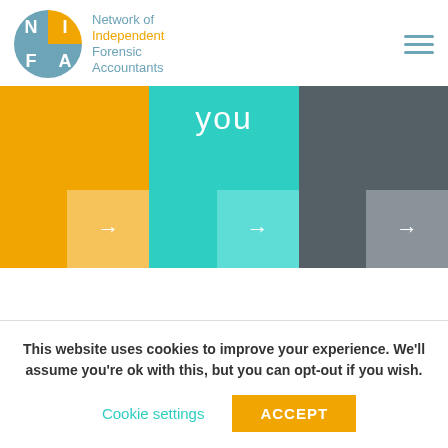[Figure (logo): NIFA - Network of Independent Forensic Accountants logo with circular quadrant design in blue and orange]
[Figure (infographic): Three colored tile panels (orange, teal, dark gray) each with a lighter corner block and white arrow, teal panel has 'you' text at top]
This website uses cookies to improve your experience. We'll assume you're ok with this, but you can opt-out if you wish.
Cookie settings   ACCEPT